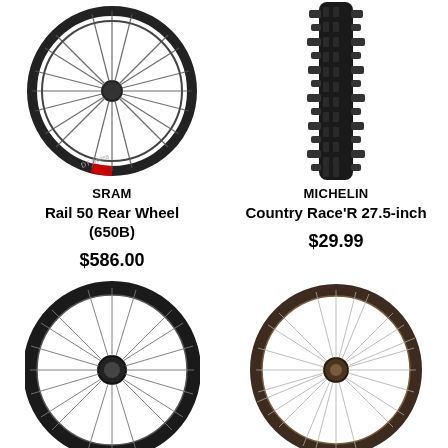[Figure (photo): SRAM Rail 50 Rear Wheel (650B) - carbon bicycle wheel viewed from front]
SRAM
Rail 50 Rear Wheel (650B)
$586.00
[Figure (photo): Michelin Country Race'R 27.5-inch tire - black knobby MTB tire]
MICHELIN
Country Race'R 27.5-inch
$29.99
[Figure (photo): Carbon bicycle wheel - dark carbon rim with silver spokes]
[Figure (photo): Bicycle wheel - brown/tan rim with silver spokes]